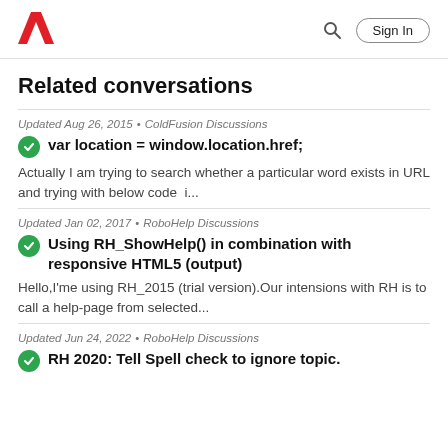Adobe | Search | Sign In
Related conversations
Updated Aug 26, 2015 • ColdFusion Discussions
var location = window.location.href;
Actually I am trying to search whether a particular word exists in URL and trying with below code  i...
Updated Jan 02, 2017 • RoboHelp Discussions
Using RH_ShowHelp() in combination with responsive HTML5 (output)
Hello,I'me using RH_2015 (trial version).Our intensions with RH is to call a help-page from selected...
Updated Jun 24, 2022 • RoboHelp Discussions
RH 2020: Tell Spell check to ignore topic.